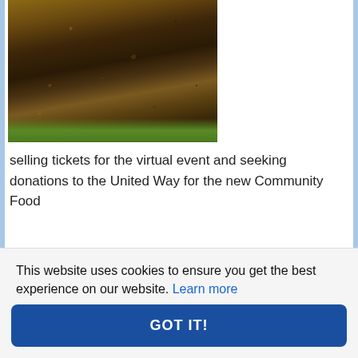[Figure (photo): Close-up photograph of dark brown soil/dirt with some green grass visible, appearing to be a garden or compost pile.]
selling tickets for the virtual event and seeking donations to the United Way for the new Community Food
Read more...
Rotary Pig Roast
On Sunday September 12th, the Rotary clubs of Kingston  assisted by Lionhearts and the Robinson Community Centre will be holding a Pig Roast
This website uses cookies to ensure you get the best experience on our website. Learn more
GOT IT!